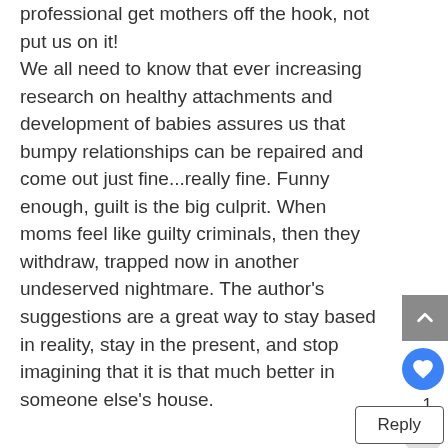professional get mothers off the hook, not put us on it! We all need to know that ever increasing research on healthy attachments and development of babies assures us that bumpy relationships can be repaired and come out just fine...really fine. Funny enough, guilt is the big culprit. When moms feel like guilty criminals, then they withdraw, trapped now in another undeserved nightmare. The author's suggestions are a great way to stay based in reality, stay in the present, and stop imagining that it is that much better in someone else's house.